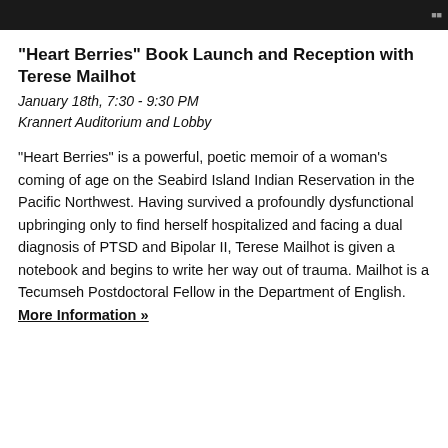[Figure (photo): Dark header image bar at the top of the page]
"Heart Berries" Book Launch and Reception with Terese Mailhot
January 18th, 7:30 - 9:30 PM
Krannert Auditorium and Lobby
"Heart Berries" is a powerful, poetic memoir of a woman's coming of age on the Seabird Island Indian Reservation in the Pacific Northwest. Having survived a profoundly dysfunctional upbringing only to find herself hospitalized and facing a dual diagnosis of PTSD and Bipolar II, Terese Mailhot is given a notebook and begins to write her way out of trauma. Mailhot is a Tecumseh Postdoctoral Fellow in the Department of English. More Information »